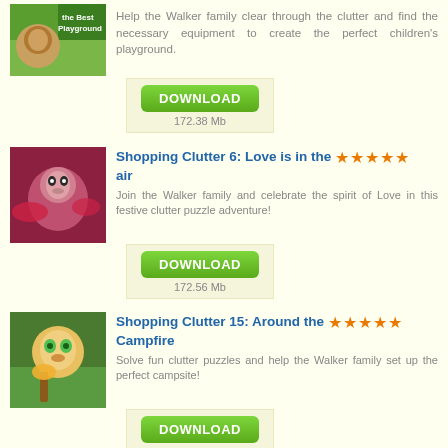Help the Walker family clear through the clutter and find the necessary equipment to create the perfect children's playground.
[Figure (other): Download button with size 172.38 Mb]
[Figure (illustration): Game thumbnail for Shopping Clutter 6: Love is in the air]
Shopping Clutter 6: Love is in the air
Join the Walker family and celebrate the spirit of Love in this festive clutter puzzle adventure!
[Figure (other): Download button with size 172.56 Mb]
[Figure (illustration): Game thumbnail for Shopping Clutter 15: Around the Campfire]
Shopping Clutter 15: Around the Campfire
Solve fun clutter puzzles and help the Walker family set up the perfect campsite!
[Figure (other): Download button with size 173.99 Mb]